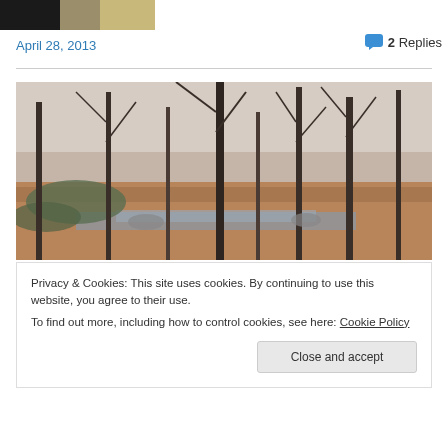[Figure (photo): Partial photo at top of page, showing clothing (dark jacket and tan/beige fabric)]
April 28, 2013
💬 2 Replies
[Figure (photo): Outdoor woodland/forest scene with bare deciduous trees, fallen leaves on ground, and a small stream or wet area in the foreground]
Privacy & Cookies: This site uses cookies. By continuing to use this website, you agree to their use.
To find out more, including how to control cookies, see here: Cookie Policy
Close and accept